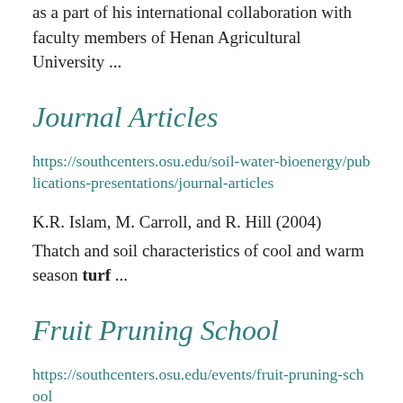as a part of his international collaboration with faculty members of Henan Agricultural University ...
Journal Articles
https://southcenters.osu.edu/soil-water-bioenergy/publications-presentations/journal-articles
K.R. Islam, M. Carroll, and R. Hill (2004)
Thatch and soil characteristics of cool and warm season turf ...
Fruit Pruning School
https://southcenters.osu.edu/events/fruit-pruning-school
production efficiency, and make them